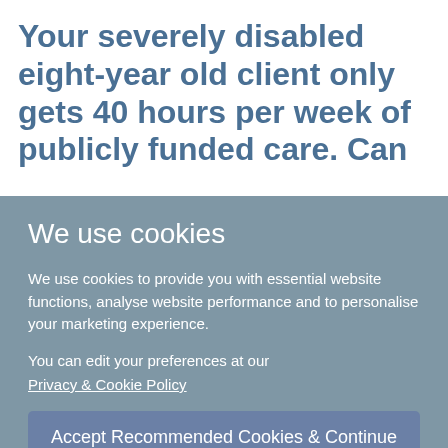Your severely disabled eight-year old client only gets 40 hours per week of publicly funded care. Can
We use cookies
We use cookies to provide you with essential website functions, analyse website performance and to personalise your marketing experience.
You can edit your preferences at our Privacy & Cookie Policy
Accept Recommended Cookies & Continue